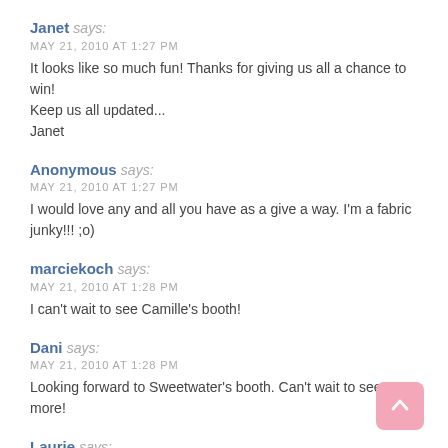Janet says: MAY 21, 2010 AT 1:27 PM
It looks like so much fun! Thanks for giving us all a chance to win!
Keep us all updated...
Janet
Anonymous says: MAY 21, 2010 AT 1:27 PM
I would love any and all you have as a give a way. I'm a fabric junky!!! ;o)
marciekoch says: MAY 21, 2010 AT 1:28 PM
I can't wait to see Camille's booth!
Dani says: MAY 21, 2010 AT 1:28 PM
Looking forward to Sweetwater's booth. Can't wait to see more!
Laurie says: MAY 21, 2010 AT 1:30 PM